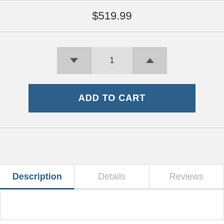$519.99
[Figure (screenshot): Quantity selector with decrement and increment buttons showing value of 1]
ADD TO CART
Description
Details
Reviews